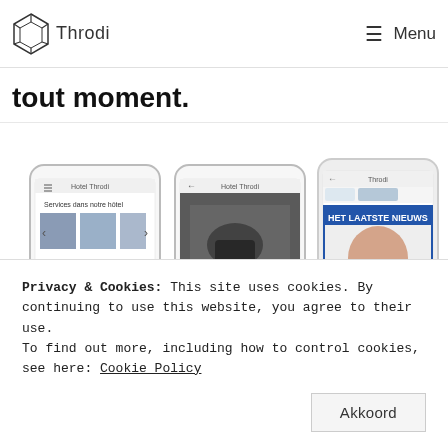Throdi  ≡ Menu
tout moment.
[Figure (screenshot): Three smartphone screens showing the Throdi hotel app interface: left screen shows 'Hotel Throdi - Services dans notre hôtel' with image carousel, middle screen shows 'Hotel Throdi' with a luggage photo and 'Journaux' label, right screen shows 'Throdi' app with Het Laatste Nieuws newspaper content, held in a hand.]
Privacy & Cookies: This site uses cookies. By continuing to use this website, you agree to their use.
To find out more, including how to control cookies, see here: Cookie Policy
Akkoord